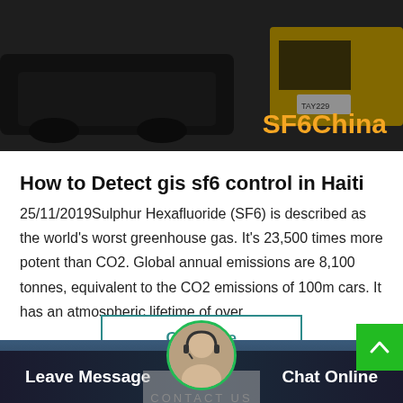[Figure (photo): Dark background photo of vehicles including a yellow truck, with 'SF6China' text overlay in orange on the right side]
How to Detect gis sf6 control in Haiti
25/11/2019Sulphur Hexafluoride (SF6) is described as the world's worst greenhouse gas. It's 23,500 times more potent than CO2. Global annual emissions are 8,100 tonnes, equivalent to the CO2 emissions of 100m cars. It has an atmospheric lifetime of over…
[Figure (other): Get Price button with teal border]
Leave Message    Chat Online